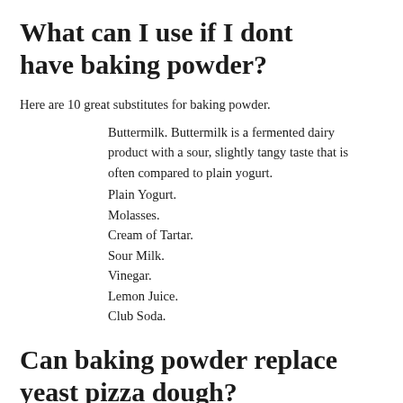What can I use if I dont have baking powder?
Here are 10 great substitutes for baking powder.
Buttermilk. Buttermilk is a fermented dairy product with a sour, slightly tangy taste that is often compared to plain yogurt.
Plain Yogurt.
Molasses.
Cream of Tartar.
Sour Milk.
Vinegar.
Lemon Juice.
Club Soda.
Can baking powder replace yeast pizza dough?